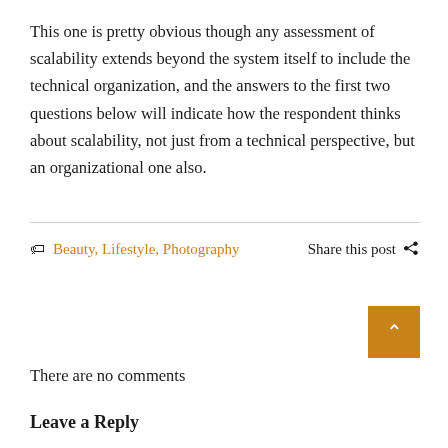This one is pretty obvious though any assessment of scalability extends beyond the system itself to include the technical organization, and the answers to the first two questions below will indicate how the respondent thinks about scalability, not just from a technical perspective, but an organizational one also.
🏷 Beauty, Lifestyle, Photography    Share this post 🔗
There are no comments
Leave a Reply